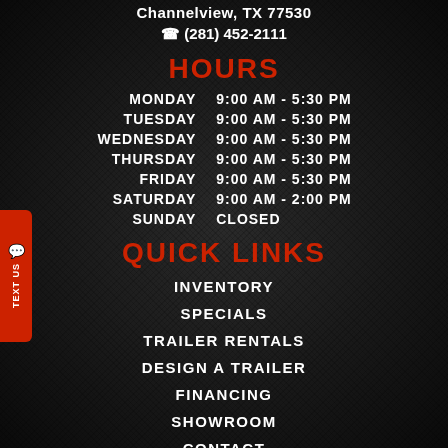Channelview, TX 77530
☎ (281) 452-2111
HOURS
| Day | Hours |
| --- | --- |
| MONDAY | 9:00 AM - 5:30 PM |
| TUESDAY | 9:00 AM - 5:30 PM |
| WEDNESDAY | 9:00 AM - 5:30 PM |
| THURSDAY | 9:00 AM - 5:30 PM |
| FRIDAY | 9:00 AM - 5:30 PM |
| SATURDAY | 9:00 AM - 2:00 PM |
| SUNDAY | CLOSED |
QUICK LINKS
INVENTORY
SPECIALS
TRAILER RENTALS
DESIGN A TRAILER
FINANCING
SHOWROOM
CONTACT